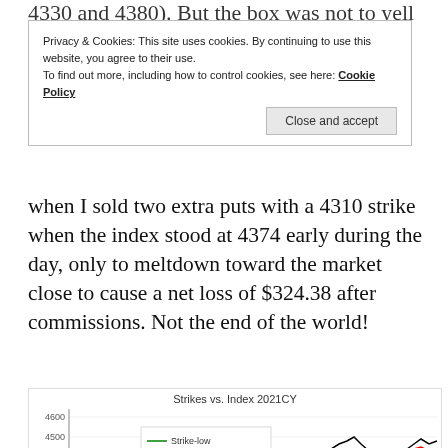Privacy & Cookies: This site uses cookies. By continuing to use this website, you agree to their use.
To find out more, including how to control cookies, see here: Cookie Policy
when I sold two extra puts with a 4310 strike when the index stood at 4374 early during the day, only to meltdown toward the market close to cause a net loss of $324.38 after commissions. Not the end of the world!
[Figure (line-chart): Line chart showing Strike-low (green), Strike-High (red), and Index (black) over 2021 calendar year. Y-axis ranges from approximately 3800 to 4600. Two purple circle markers highlight notable events on the chart.]